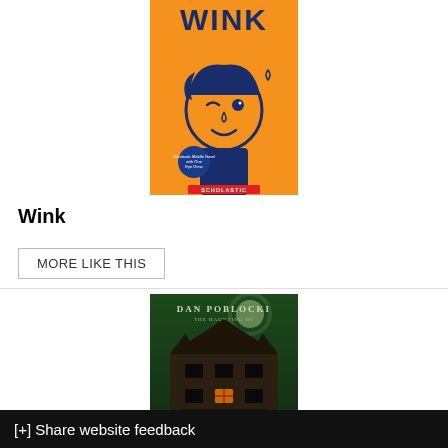[Figure (illustration): Book cover of 'Wink' published by Scholastic. Orange background with a cartoon boy winking, holding a guitar. Title 'WINK' in large dark blue letters at top. Small blue circular badge with text. Scholastic logo at bottom.]
Wink
MORE LIKE THIS
[Figure (illustration): Book cover by Dan Poblocki. Dark green moody image of a haunted-looking mansion at night with a full moon. Author name 'DAN POBLOCKI' at top in large letters.]
[+] Share website feedback